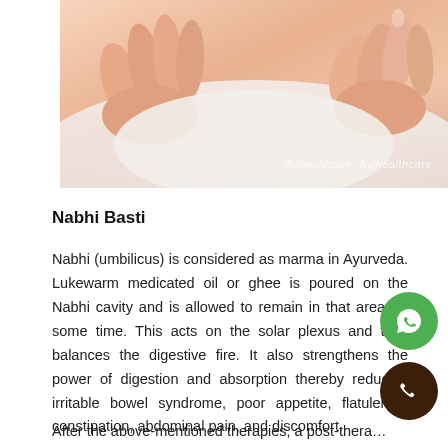[Figure (photo): Close-up photo of hands performing Ayurvedic massage treatment on a person, with watermark text 'Ayihealthcare' in bottom right corner.]
Nabhi Basti
Nabhi (umbilicus) is considered as marma in Ayurveda. Lukewarm medicated oil or ghee is poured on the Nabhi cavity and is allowed to remain in that area for some time. This acts on the solar plexus and thus balances the digestive fire. It also strengthens the power of digestion and absorption thereby reducing irritable bowel syndrome, poor appetite, flatulence, constipation, abdominal pain, and discomfort.
After the above-mentioned therapies, a post-thera…